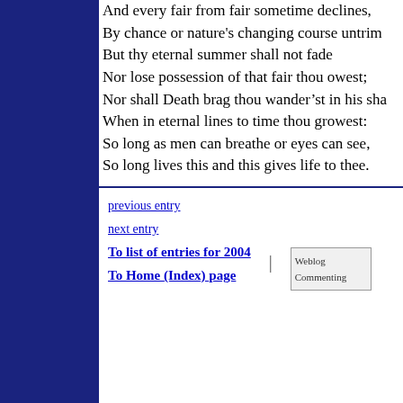And every fair from fair sometime declines,
By chance or nature's changing course untrim'd
But thy eternal summer shall not fade
Nor lose possession of that fair thou owest;
Nor shall Death brag thou wander'st in his sha...
When in eternal lines to time thou growest:
So long as men can breathe or eyes can see,
So long lives this and this gives life to thee.
previous entry
next entry
To list of entries for 2004
To Home (Index) page
[Figure (other): Weblog Commenting badge/button image]